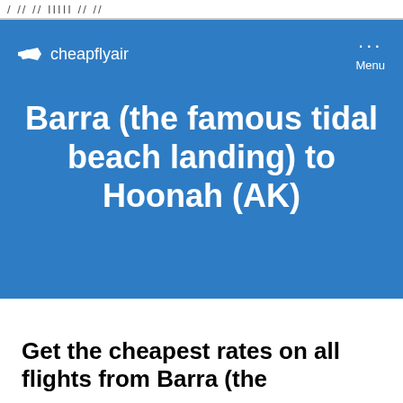/ // // IIIII // //
[Figure (logo): CheapFlyAir logo with airplane icon and text 'cheapflyair' on blue background header, with Menu button (three dots) on the right]
Barra (the famous tidal beach landing) to Hoonah (AK)
Get the cheapest rates on all flights from Barra (the